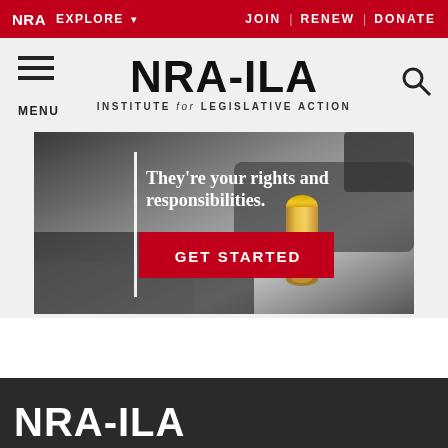NRA EXPLORE ▾  JOIN | RENEW | DONATE
NRA-ILA
INSTITUTE for LEGISLATIVE ACTION
[Figure (photo): Banner advertisement showing a bullet and firearm in black and white background with text 'They're your rights and responsibilities.' and a red GET STARTED button]
[Figure (logo): NRA-ILA white logo on dark background at the bottom of the page]